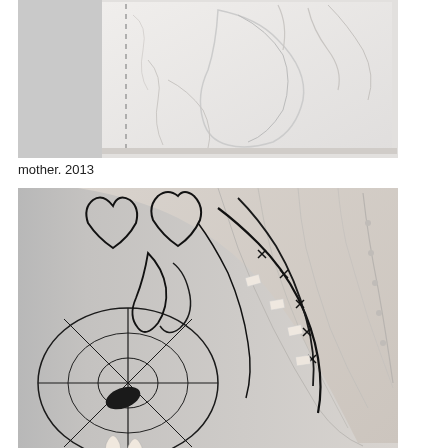[Figure (photo): Photograph of a white textured artwork on a wall. The piece appears to be a crumpled or embossed white paper or fabric on a square canvas, with a dashed vertical line visible on the left side. The work is displayed on a light gray wall.]
mother. 2013
[Figure (photo): Close-up photograph of an artwork featuring dark wire or thread woven into intricate web-like and organic shapes, attached to or overlaid on a light linen or canvas shirt/garment. Small white paper or fabric pieces are attached at various points. The work is displayed against a light gray wall.]